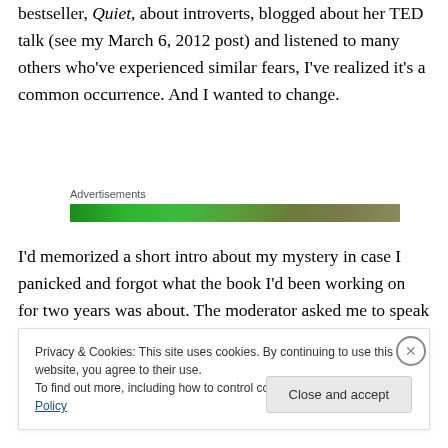bestseller, Quiet, about introverts, blogged about her TED talk (see my March 6, 2012 post) and listened to many others who've experienced similar fears, I've realized it's a common occurrence. And I wanted to change.
[Figure (other): Green advertisement banner labeled 'Advertisements']
I'd memorized a short intro about my mystery in case I panicked and forgot what the book I'd been working on for two years was about. The moderator asked me to speak
Privacy & Cookies: This site uses cookies. By continuing to use this website, you agree to their use.
To find out more, including how to control cookies, see here: Cookie Policy